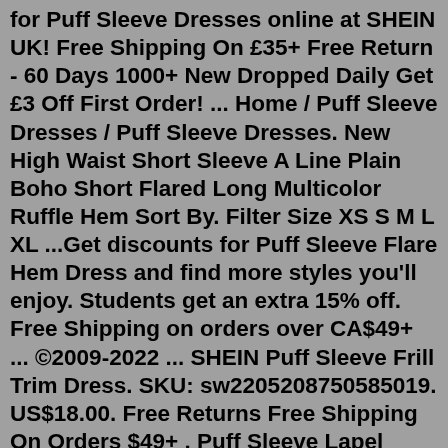for Puff Sleeve Dresses online at SHEIN UK! Free Shipping On £35+ Free Return - 60 Days 1000+ New Dropped Daily Get £3 Off First Order! ... Home / Puff Sleeve Dresses / Puff Sleeve Dresses. New High Waist Short Sleeve A Line Plain Boho Short Flared Long Multicolor Ruffle Hem Sort By. Filter Size XS S M L XL ...Get discounts for Puff Sleeve Flare Hem Dress and find more styles you'll enjoy. Students get an extra 15% off. Free Shipping on orders over CA$49+ ... ©2009-2022 ... SHEIN Puff Sleeve Frill Trim Dress. SKU: sw2205208750585019. US$18.00. Free Returns Free Shipping On Orders $49+ . Puff Sleeve Lapel Neck Dress- Women Dresses at SHEIN. Dec 23, 2021 - Free Returns Free Shipping On Orders $49+ . SHEIN Puff Sleeve Belted Dress- Women Dresses at SHEIN. DAZY Solid Zipper Back Puff Sleeve Ruffle Hem Dress. SHEIN MOD Floral Print Square Neck A-line Dress. DAZY Puff Sleeve Fake Button Tie Back Slant Pockets Dress. ROMWE Sweetness Ditsy Floral Frill Knot Front Split Dress. DAZY Square Neck Puff Sleeve Dress. DAZY Lantern Lace Trim Bell Sle